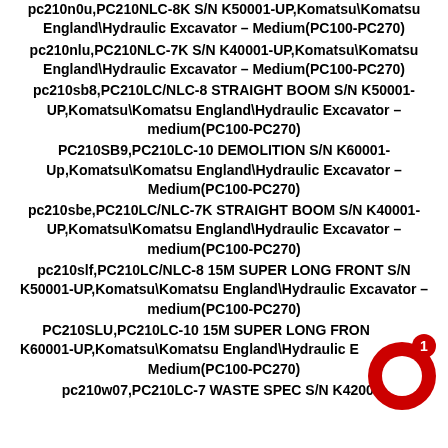pc210n0u,PC210NLC-8K S/N K50001-UP,Komatsu\Komatsu England\Hydraulic Excavator – Medium(PC100-PC270)
pc210nlu,PC210NLC-7K S/N K40001-UP,Komatsu\Komatsu England\Hydraulic Excavator – Medium(PC100-PC270)
pc210sb8,PC210LC/NLC-8 STRAIGHT BOOM S/N K50001-UP,Komatsu\Komatsu England\Hydraulic Excavator – medium(PC100-PC270)
PC210SB9,PC210LC-10 DEMOLITION S/N K60001-Up,Komatsu\Komatsu England\Hydraulic Excavator – Medium(PC100-PC270)
pc210sbe,PC210LC/NLC-7K STRAIGHT BOOM S/N K40001-UP,Komatsu\Komatsu England\Hydraulic Excavator – medium(PC100-PC270)
pc210slf,PC210LC/NLC-8 15M SUPER LONG FRONT S/N K50001-UP,Komatsu\Komatsu England\Hydraulic Excavator – medium(PC100-PC270)
PC210SLU,PC210LC-10 15M SUPER LONG FRONT S/N K60001-UP,Komatsu\Komatsu England\Hydraulic Excavator – Medium(PC100-PC270)
pc210w07,PC210LC-7 WASTE SPEC S/N K42001-